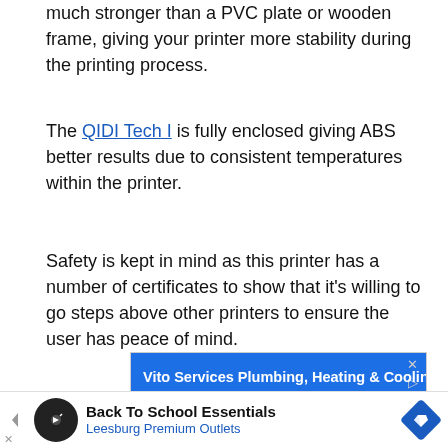much stronger than a PVC plate or wooden frame, giving your printer more stability during the printing process.
The QIDI Tech I is fully enclosed giving ABS better results due to consistent temperatures within the printer.
Safety is kept in mind as this printer has a number of certificates to show that it's willing to go steps above other printers to ensure the user has peace of mind.
[Figure (infographic): Advertisement banner for Vito Services Plumbing, Heating & Cooling, Proudly Serving Rockville, MD]
[Figure (infographic): Bottom advertisement bar: Back To School Essentials, Leesburg Premium Outlets]